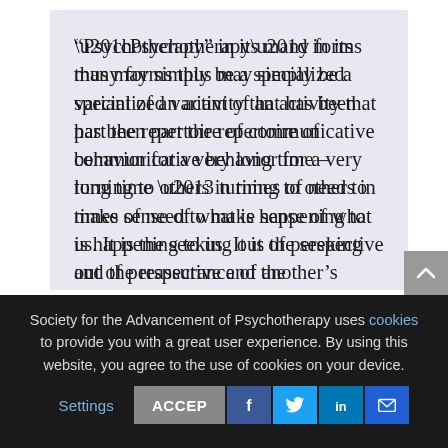“Psychotherapy” in its many forms thus may simply be a specialized variant of an activity that has been part the repertoire of communicative behavior for a very long time – turning to others in times of need to make sense of what is happening to us. It is the seeking out of perspective and the reassurance of another’s social knowledge. But for it to be meaningful there needs to be a workable level of epistemic
Society for the Advancement of Psychotherapy uses cookies to provide you with a great user experience. By using this website, you agree to the use of cookies on your device.
Settings   ACCEPT